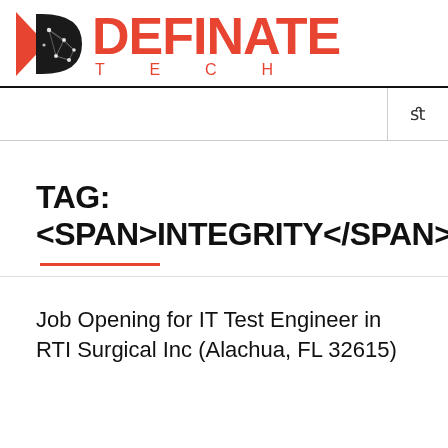[Figure (logo): Definate Tech logo with a stylized D icon in black/red and the company name in red]
fl
TAG: <SPAN>INTEGRITY</SPAN>
Job Opening for IT Test Engineer in RTI Surgical Inc (Alachua, FL 32615)